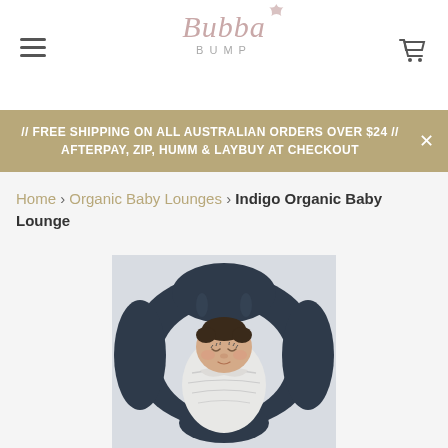Bubba Bump
// FREE SHIPPING ON ALL AUSTRALIAN ORDERS OVER $24 // AFTERPAY, ZIP, HUMM & LAYBUY AT CHECKOUT
Home > Organic Baby Lounges > Indigo Organic Baby Lounge
[Figure (photo): A newborn baby swaddled in a white blanket resting inside a dark navy/indigo organic baby lounge pillow product, viewed from above on a light background.]